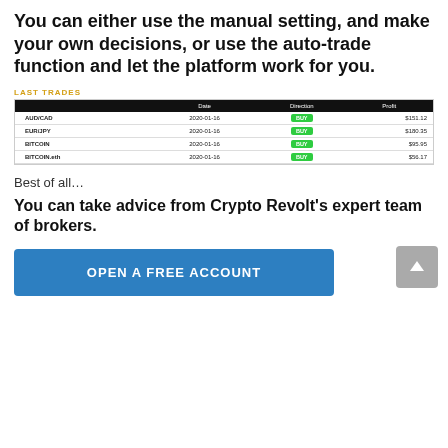You can either use the manual setting, and make your own decisions, or use the auto-trade function and let the platform work for you.
LAST TRADES
|  | Date | Direction | Profit |
| --- | --- | --- | --- |
| AUD/CAD | 2020-01-16 | BUY | $151.12 |
| EUR/JPY | 2020-01-16 | BUY | $180.35 |
| BITCOIN | 2020-01-16 | BUY | $95.95 |
| BITCOIN.eth | 2020-01-16 | BUY | $56.17 |
Best of all…
You can take advice from Crypto Revolt's expert team of brokers.
OPEN A FREE ACCOUNT